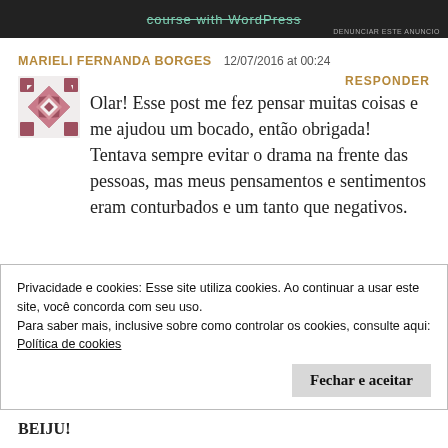[Figure (screenshot): Dark banner with teal/green strikethrough text reading 'course with WordPress' and small gray text 'DENUNCIAR ESTE ANUNCIO' at bottom right]
MARIELI FERNANDA BORGES   12/07/2016 at 00:24
RESPONDER
[Figure (illustration): Decorative avatar icon with dark pink/mauve diamond/cross pattern on white background]
Olar! Esse post me fez pensar muitas coisas e me ajudou um bocado, então obrigada! Tentava sempre evitar o drama na frente das pessoas, mas meus pensamentos e sentimentos eram conturbados e um tanto que negativos.
Privacidade e cookies: Esse site utiliza cookies. Ao continuar a usar este site, você concorda com seu uso.
Para saber mais, inclusive sobre como controlar os cookies, consulte aqui: Política de cookies
Fechar e aceitar
BEIJU!